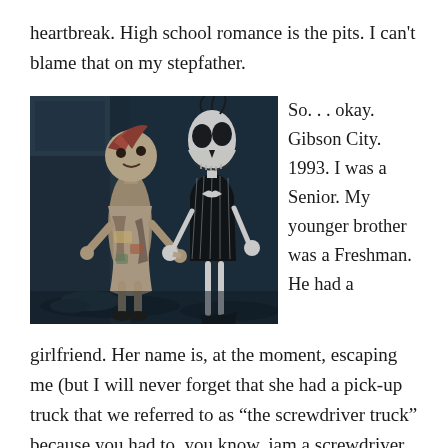heartbreak. High school romance is the pits. I can't blame that on my stepfather.
[Figure (photo): A still from The Nightmare Before Christmas (1993) showing the characters Sally and Jack Skellington holding hands in a dark, gothic setting.]
So. . . okay. Gibson City. 1993. I was a Senior. My younger brother was a Freshman. He had a girlfriend. Her name is, at the moment, escaping me (but I will never forget that she had a pick-up truck that we referred to as “the screwdriver truck” because you had to, you know, jam a screwdriver into the ignition to start it). They were going to see this movie at the Wings Cinema in Rantoul. Naturally, I did not want to be so